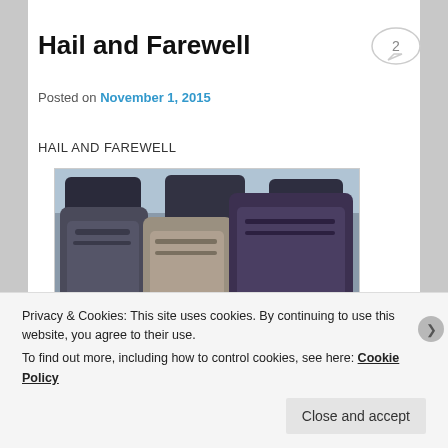Hail and Farewell
Posted on November 1, 2015
HAIL AND FAREWELL
[Figure (photo): Back seat of a car packed with multiple backpacks and bags]
Privacy & Cookies: This site uses cookies. By continuing to use this website, you agree to their use.
To find out more, including how to control cookies, see here: Cookie Policy